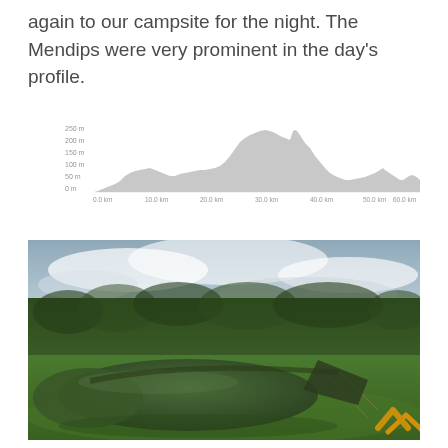again to our campsite for the night. The Mendips were very prominent in the day's profile.
[Figure (continuous-plot): Elevation profile chart showing the day's route. Y-axis shows elevation in metres (0m to 250m). X-axis shows distance (0.0km to 60.0km). Profile shows a prominent peak around 30km reaching about 240m, with smaller undulations throughout.]
[Figure (photo): A green low-profile backpacking tent pitched on a green grass campsite. Behind the tent is a tall dense hedgerow. The sky above is overcast with grey-blue clouds. The tent is a tunnel-style design in dark forest green.]